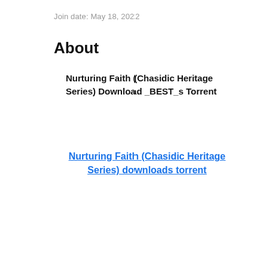Join date: May 18, 2022
About
Nurturing Faith (Chasidic Heritage Series) Download _BEST_s Torrent
Nurturing Faith (Chasidic Heritage Series) downloads torrent